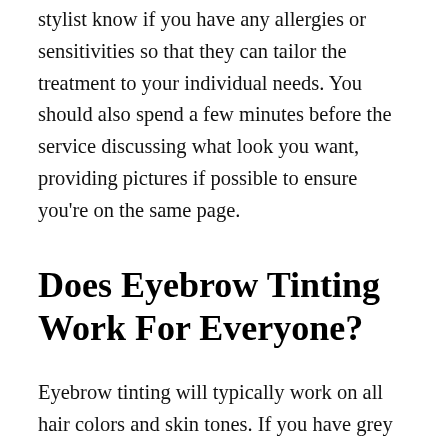stylist know if you have any allergies or sensitivities so that they can tailor the treatment to your individual needs. You should also spend a few minutes before the service discussing what look you want, providing pictures if possible to ensure you're on the same page.
Does Eyebrow Tinting Work For Everyone?
Eyebrow tinting will typically work on all hair colors and skin tones. If you have grey or white hair, however, you may find it more difficult to get the color you want. To help the process go smoothly,